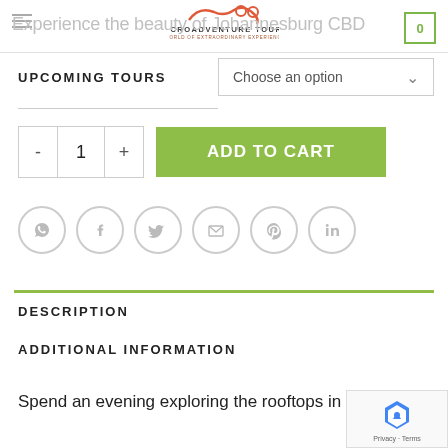MICROADVENTURE TOURS
Experience the beauty of Johannesburg CBD
UPCOMING TOURS
Choose an option
- 1 +
ADD TO CART
[Figure (infographic): Social sharing icons row: WhatsApp, Facebook, Twitter, Email, Pinterest, LinkedIn — all grey circular outline icons]
DESCRIPTION
ADDITIONAL INFORMATION
Spend an evening exploring the rooftops in Joburg,